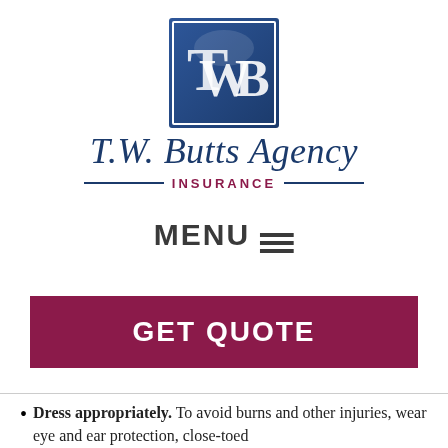[Figure (logo): T.W. Butts Agency Insurance logo with blue square containing letters TWB in white, script text 'T.W. Butts Agency' in navy blue, and 'INSURANCE' in burgundy with navy rules on either side]
MENU ☰
GET QUOTE
Dress appropriately. To avoid burns and other injuries, wear eye and ear protection, close-toed